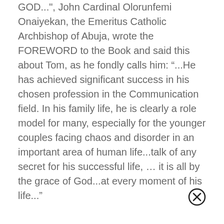GOD...", John Cardinal Olorunfemi Onaiyekan, the Emeritus Catholic Archbishop of Abuja, wrote the FOREWORD to the Book and said this about Tom, as he fondly calls him: “...He has achieved significant success in his chosen profession in the Communication field. In his family life, he is clearly a role model for many, especially for the younger couples facing chaos and disorder in an important area of human life...talk of any secret for his successful life, … it is all by the grace of God...at every moment of his life...”
[Figure (other): Close/cancel button icon: circle with X inside, bottom right corner]